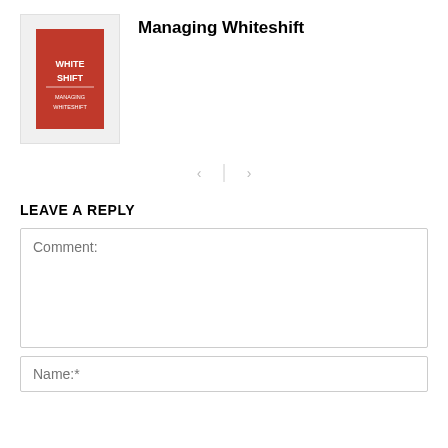[Figure (photo): Book cover thumbnail for 'Managing Whiteshift' — red cover with white text]
Managing Whiteshift
[Figure (other): Navigation arrows (left and right) separated by a vertical divider line]
LEAVE A REPLY
Comment: (text input area placeholder)
Name:* (text input field placeholder)